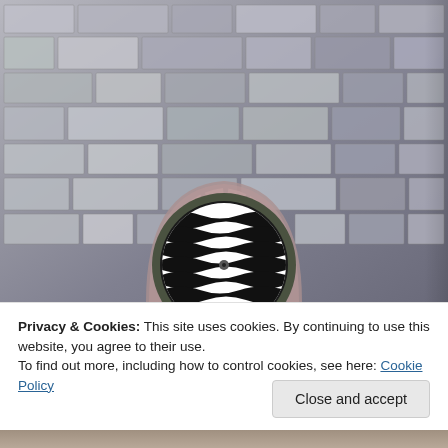[Figure (photo): Photo of a stone/brick wall with rectangular grey stones arranged in rows. In the lower center of the image, there is a circular drain with a dark green/olive rim and a black-and-white wavy striped grate inside, set into a masonry arch surround.]
Privacy & Cookies: This site uses cookies. By continuing to use this website, you agree to their use.
To find out more, including how to control cookies, see here: Cookie Policy
Close and accept
[Figure (photo): Partial view of another photo at the bottom of the page (cut off).]